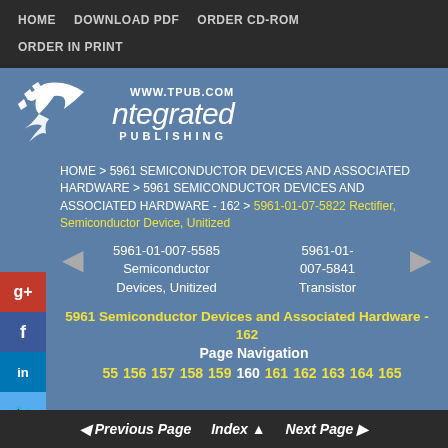HOME   DOWNLOAD PDF   ORDER CD-ROM   ORDER IN PRINT
[Figure (logo): Integrated Publishing logo with bird/wing graphic and www.tpub.com URL]
HOME > 5961 SEMICONDUCTOR DEVICES AND ASSOCIATED HARDWARE > 5961 SEMICONDUCTOR DEVICES AND ASSOCIATED HARDWARE - 162 > 5961-01-07-5822 Rectifier, Semiconductor Device, Unitized
5961-01-007-5585 Semiconductor Devices, Unitized    5961-01-007-5841 Transistor
5961 Semiconductor Devices and Associated Hardware - 162
Page Navigation
155  156  157  158  159  160  161  162  163  164  165
Previous Page   Index   Next Page